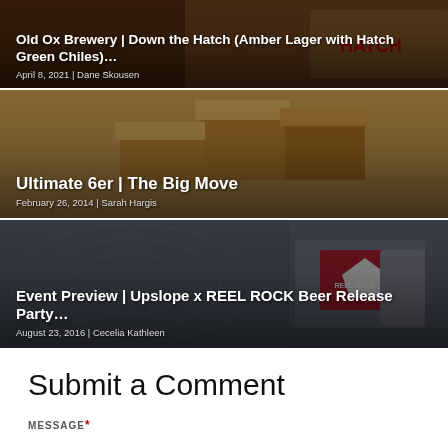[Figure (photo): Partial view of a beer/brewery card with amber tones - Old Ox Brewery Down the Hatch (Amber Lager with Hatch Green Chiles)]
Old Ox Brewery | Down the Hatch (Amber Lager with Hatch Green Chiles)…
April 8, 2021 | Dane Skousen
[Figure (photo): Photo of cardboard moving boxes, open and stacked, for Ultimate 6er | The Big Move article]
Ultimate 6er | The Big Move
February 26, 2014 | Sarah Hargis
[Figure (photo): Photo showing Reel Rock logo/beer can for Event Preview | Upslope x REEL ROCK Beer Release Party article]
Event Preview | Upslope x REEL ROCK Beer Release Party…
August 23, 2016 | Cecelia Kathleen
Submit a Comment
MESSAGE*